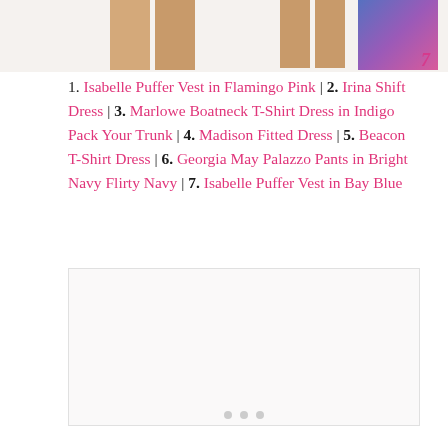[Figure (photo): Top strip showing clothing items/models with numbered labels 2 and 7 visible]
1. Isabelle Puffer Vest in Flamingo Pink | 2. Irina Shift Dress | 3. Marlowe Boatneck T-Shirt Dress in Indigo Pack Your Trunk | 4. Madison Fitted Dress | 5. Beacon T-Shirt Dress | 6. Georgia May Palazzo Pants in Bright Navy Flirty Navy | 7. Isabelle Puffer Vest in Bay Blue
[Figure (photo): Large blank/white image area below the text list, with pagination dots at the bottom]